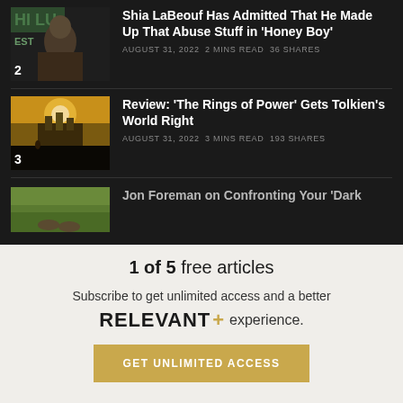[Figure (photo): Photo of Shia LaBeouf with beard, number badge 2 in bottom-left corner]
Shia LaBeouf Has Admitted That He Made Up That Abuse Stuff in 'Honey Boy'
AUGUST 31, 2022 2 MINS READ 36 SHARES
[Figure (photo): Fantasy landscape with golden sky and castle, number badge 3 in bottom-left corner]
Review: 'The Rings of Power' Gets Tolkien's World Right
AUGUST 31, 2022 3 MINS READ 193 SHARES
[Figure (photo): Partial photo of a field/nature scene, partially cut off]
Jon Foreman on Confronting Your 'Dark
1 of 5 free articles
Subscribe to get unlimited access and a better RELEVANT+ experience.
GET UNLIMITED ACCESS